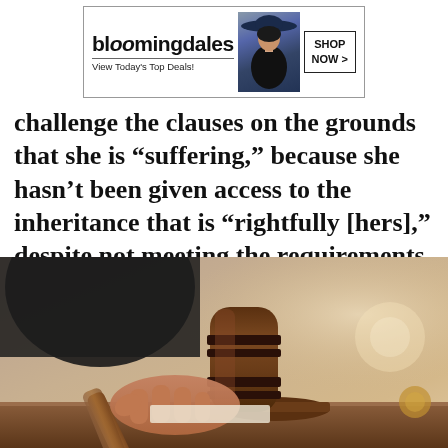[Figure (advertisement): Bloomingdale's advertisement banner showing brand name, 'View Today's Top Deals!' tagline, a woman in a wide-brim hat, and a 'SHOP NOW >' button]
challenge the clauses on the grounds that she is “suffering,” because she hasn’t been given access to the inheritance that is “rightfully [hers],” despite not meeting the requirements.
[Figure (photo): Close-up photograph of a judge’s hand holding a wooden gavel about to strike a sound block on a wooden surface, with a blurred background showing courthouse elements]